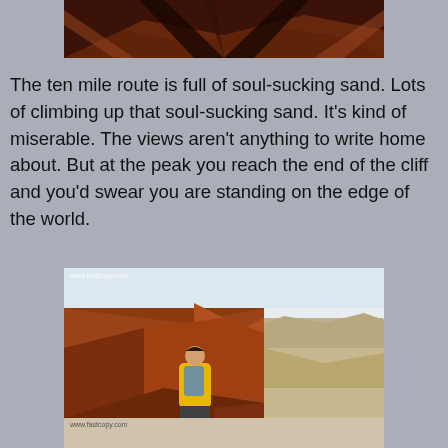[Figure (photo): Aerial or ground-level view of reddish sandy desert terrain with dark shadows, possibly showing a trail or canyon]
The ten mile route is full of soul-sucking sand. Lots of climbing up that soul-sucking sand. It's kind of miserable. The views aren't anything to write home about. But at the peak you reach the end of the cliff and you'd swear you are standing on the edge of the world.
[Figure (photo): A hiker in a yellow jacket and grey backpack stands on the edge of a red rock cliff overlooking a vast canyon landscape with mountains in the background. Watermark: www.fastcopy.com]
[Figure (photo): Partial view of another photo at the bottom of the page. Watermark: www.fastcopy.com]